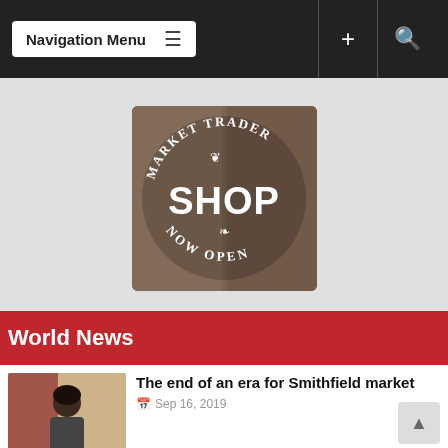Navigation Menu
[Figure (photo): A shop window decal reading 'MARKET TRADER SHOP NOW OPEN' in white lettering on a circular design, photographed through glass with blurred background.]
World News
[Figure (photo): Thumbnail photo of a woman standing outdoors, with brick building in background.]
The end of an era for Smithfield market
Sep 16, 2019